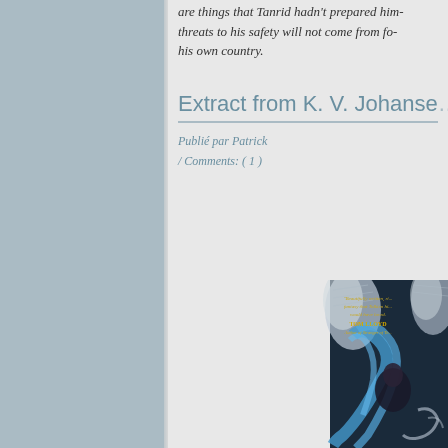are things that Tanrid hadn't prepared him... threats to his safety will not come from fo... his own country.
Extract from K. V. Johanse...
Publié par Patrick
/ Comments: ( 1 )
[Figure (illustration): Book cover illustration showing a fantasy character with wings and flowing blue hair/cloak, with a quote from Tom Lloyd and text overlays in gold.]